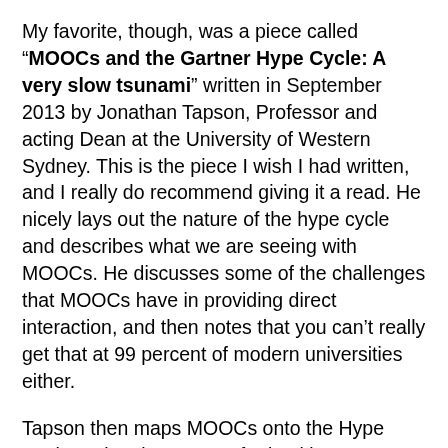My favorite, though, was a piece called “MOOCs and the Gartner Hype Cycle: A very slow tsunami” written in September 2013 by Jonathan Tapson, Professor and acting Dean at the University of Western Sydney. This is the piece I wish I had written, and I really do recommend giving it a read. He nicely lays out the nature of the hype cycle and describes what we are seeing with MOOCs. He discusses some of the challenges that MOOCs have in providing direct interaction, and then notes that you can’t really get that at 99 percent of modern universities either.
Tapson then maps MOOCs onto the Hype Cycle and makes a case for it taking 9 or 10 years, rather than 9 or 10 months, for MOOCs to wind their way through. If he’s right, we may want to pay attention for a little longer before declaring them dead.
Are MOOCs following the Hype Cycle, eventually to climb the slope of enlightenment? Or will they crash